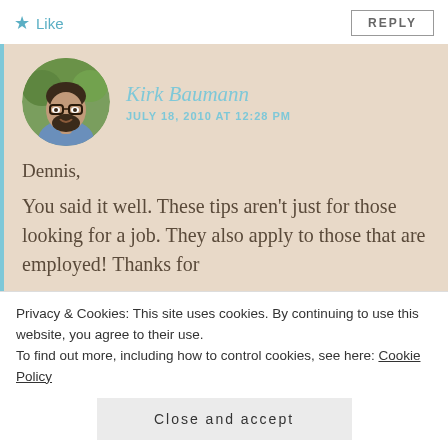★ Like
REPLY
[Figure (photo): Circular profile photo of Kirk Baumann, a man with glasses and a beard, smiling outdoors.]
Kirk Baumann
JULY 18, 2010 AT 12:28 PM
Dennis,
You said it well. These tips aren't just for those looking for a job. They also apply to those that are employed! Thanks for
Privacy & Cookies: This site uses cookies. By continuing to use this website, you agree to their use.
To find out more, including how to control cookies, see here: Cookie Policy
Close and accept